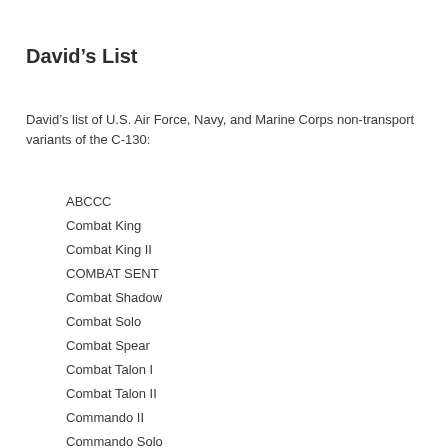David’s List
David’s list of U.S. Air Force, Navy, and Marine Corps non-transport variants of the C-130:
ABCCC
Combat King
Combat King II
COMBAT SENT
Combat Shadow
Combat Solo
Combat Spear
Combat Talon I
Combat Talon II
Commando II
Commando Solo
Compass Call